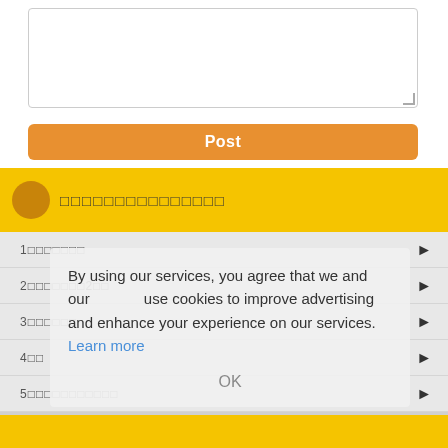[Figure (screenshot): Text input textarea box with resize handle in bottom-right corner]
Post
□□□□□□□□□□□□□□□
1□□□□□□□
2□□□□□□□2□□
3□□□□□□
4□□
5□□□□□□□□□□□
By using our services, you agree that we and our use cookies to improve advertising and enhance your experience on our services. Learn more
OK